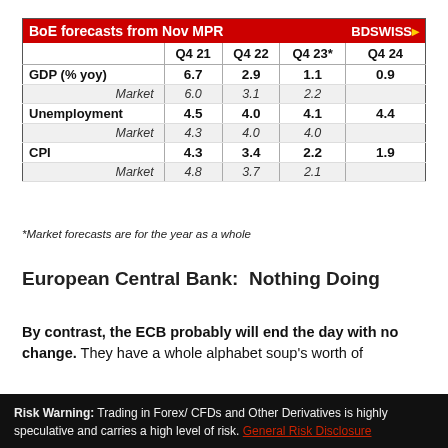|  | Q4 21 | Q4 22 | Q4 23* | Q4 24 |
| --- | --- | --- | --- | --- |
| GDP (% yoy) | 6.7 | 2.9 | 1.1 | 0.9 |
| Market | 6.0 | 3.1 | 2.2 |  |
| Unemployment | 4.5 | 4.0 | 4.1 | 4.4 |
| Market | 4.3 | 4.0 | 4.0 |  |
| CPI | 4.3 | 3.4 | 2.2 | 1.9 |
| Market | 4.8 | 3.7 | 2.1 |  |
*Market forecasts are for the year as a whole
European Central Bank:  Nothing Doing
By contrast, the ECB probably will end the day with no change. They have a whole alphabet soup's worth of
Risk Warning: Trading in Forex/ CFDs and Other Derivatives is highly speculative and carries a high level of risk. General Risk Disclosure